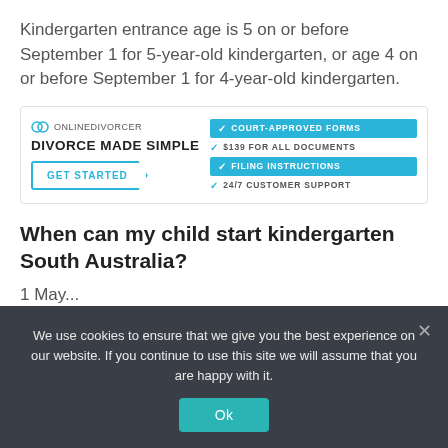Kindergarten entrance age is 5 on or before September 1 for 5-year-old kindergarten, or age 4 on or before September 1 for 4-year-old kindergarten.
[Figure (infographic): OnlineDivorcer advertisement banner: logo and tagline 'DIVORCE MADE SIMPLE' with GET STARTED button, and feature list: COURT-APPROVED FORMS, $139 FOR ALL DOCUMENTS, FILING INSTRUCTIONS, 24/7 CUSTOMER SUPPORT]
When can my child start kindergarten South Australia?
1 May...
We use cookies to ensure that we give you the best experience on our website. If you continue to use this site we will assume that you are happy with it.